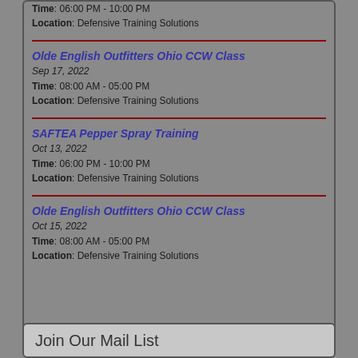Time: 06:00 PM - 10:00 PM
Location: Defensive Training Solutions
Olde English Outfitters Ohio CCW Class
Sep 17, 2022
Time: 08:00 AM - 05:00 PM
Location: Defensive Training Solutions
SAFTEA Pepper Spray Training
Oct 13, 2022
Time: 06:00 PM - 10:00 PM
Location: Defensive Training Solutions
Olde English Outfitters Ohio CCW Class
Oct 15, 2022
Time: 08:00 AM - 05:00 PM
Location: Defensive Training Solutions
Join Our Mail List